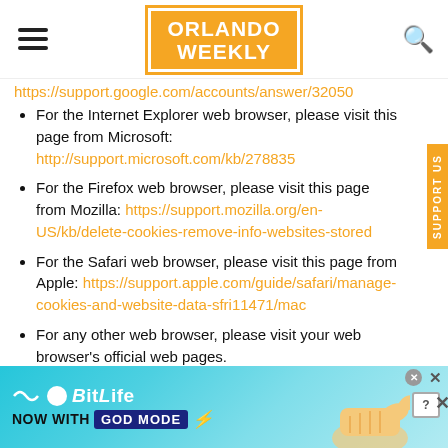Orlando Weekly
https://support.google.com/accounts/answer/32050
For the Internet Explorer web browser, please visit this page from Microsoft: http://support.microsoft.com/kb/278835
For the Firefox web browser, please visit this page from Mozilla: https://support.mozilla.org/en-US/kb/delete-cookies-remove-info-websites-stored
For the Safari web browser, please visit this page from Apple: https://support.apple.com/guide/safari/manage-cookies-and-website-data-sfri11471/mac
For any other web browser, please visit your web browser's official web pages.
[Figure (illustration): BitLife advertisement banner with 'Now with GOD MODE' text and hand/finger graphic on blue background]